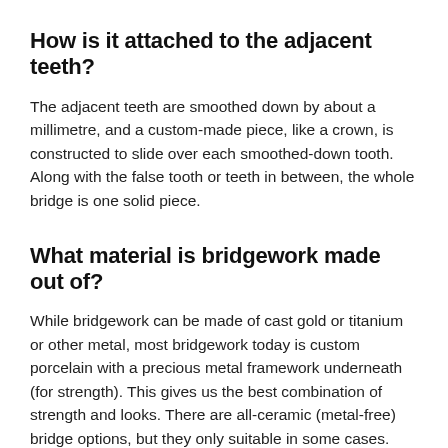How is it attached to the adjacent teeth?
The adjacent teeth are smoothed down by about a millimetre, and a custom-made piece, like a crown, is constructed to slide over each smoothed-down tooth. Along with the false tooth or teeth in between, the whole bridge is one solid piece.
What material is bridgework made out of?
While bridgework can be made of cast gold or titanium or other metal, most bridgework today is custom porcelain with a precious metal framework underneath (for strength). This gives us the best combination of strength and looks. There are all-ceramic (metal-free) bridge options, but they only suitable in some cases.